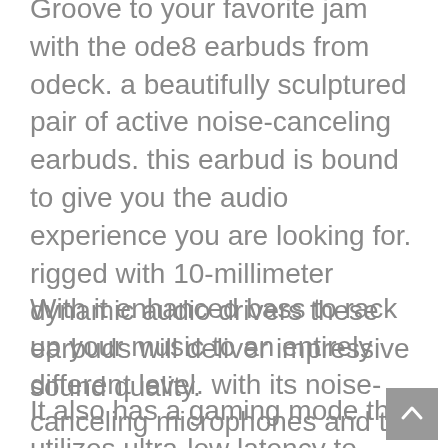Groove to your favorite jam with the ode8 earbuds from odeck. a beautifully sculptured pair of active noise-canceling earbuds. this earbud is bound to give you the audio experience you are looking for. rigged with 10-millimeter dynamic audio drivers these earbuds will deliver impressive sound quality.
With it enhanced bass to rack up your music to an entirely different level. with its noise-canceling microphones and the latest ANC technology, these earbuds can block up to 35 decibels of ambient noise. so you can listen to your music and hear your cult no matter where you are.
It also has a gaming mode that utilizes ultra-low latency to...